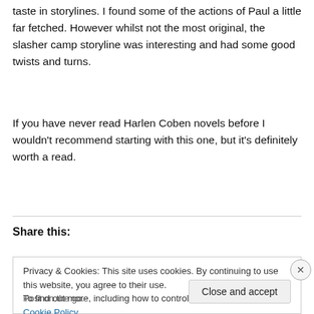taste in storylines. I found some of the actions of Paul a little far fetched. However whilst not the most original, the slasher camp storyline was interesting and had some good twists and turns.
If you have never read Harlen Coben novels before I wouldn't recommend starting with this one, but it's definitely worth a read.
Share this:
Privacy & Cookies: This site uses cookies. By continuing to use this website, you agree to their use.
To find out more, including how to control cookies, see here: Cookie Policy
Post on the go.